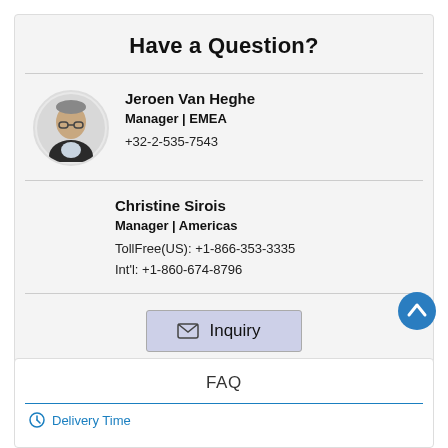Have a Question?
Jeroen Van Heghe
Manager | EMEA
+32-2-535-7543
Christine Sirois
Manager | Americas
TollFree(US): +1-866-353-3335
Int'l: +1-860-674-8796
Inquiry
FAQ
Delivery Time